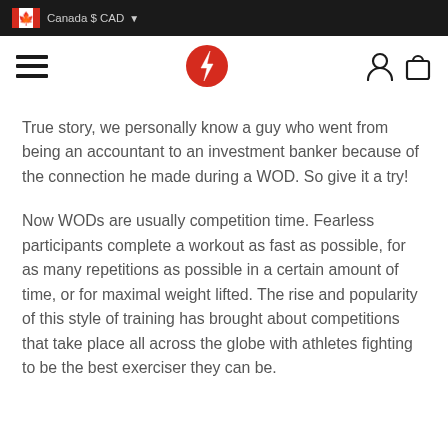Canada $ CAD
[Figure (logo): Navigation bar with hamburger menu, red lightning bolt logo, user icon, and shopping bag icon]
True story, we personally know a guy who went from being an accountant to an investment banker because of the connection he made during a WOD. So give it a try!
Now WODs are usually competition time. Fearless participants complete a workout as fast as possible, for as many repetitions as possible in a certain amount of time, or for maximal weight lifted. The rise and popularity of this style of training has brought about competitions that take place all across the globe with athletes fighting to be the best exerciser they can be.